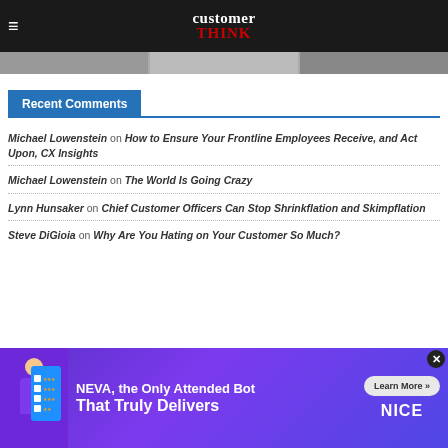customer THINK
[Figure (photo): Thumbnail image strip showing partial article images]
Recent Comments
Michael Lowenstein on How to Ensure Your Frontline Employees Receive, and Act Upon, CX Insights
Michael Lowenstein on The World Is Going Crazy
Lynn Hunsaker on Chief Customer Officers Can Stop Shrinkflation and Skimpflation
Steve DiGioia on Why Are You Hating on Your Customer So Much?
[Figure (infographic): NEVA advertisement banner: NEVA, the Only Attended Bot That Truly Delivers. Learn More button. NICE logo.]